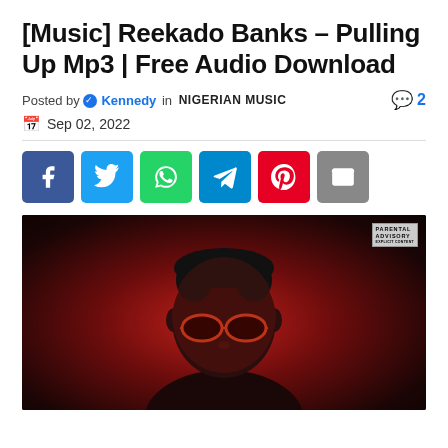[Music] Reekado Banks – Pulling Up Mp3 | Free Audio Download
Posted by Kennedy in NIGERIAN MUSIC  2
Sep 02, 2022
[Figure (infographic): Social sharing buttons: Facebook (blue), Twitter (light blue), WhatsApp (green), Telegram (blue), Pinterest (red), Email (gray)]
[Figure (photo): Album cover photo showing Reekado Banks from the chest up, wearing round red-tinted sunglasses, with dramatic red lighting on a dark background. Explicit content badge in top right corner.]